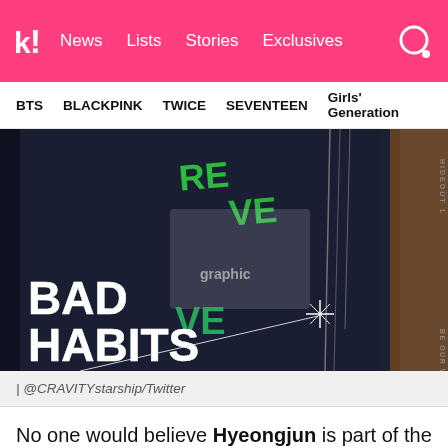k! News Lists Stories Exclusives
BTS BLACKPINK TWICE SEVENTEEN Girls' Generation
[Figure (photo): Dark background promotional image for CRAVITY's 'Bad Habits' - shows a jacket with green and white graphic print, chains, text 'BAD HABITS' in large white bold letters on lower left with sparkle graphic, and vertical text 'HIDEOUT 1' and 'BE OUR VOICE' on right side]
| @CRAVITYstarship/Twitter
No one would believe Hyeongjun is part of the